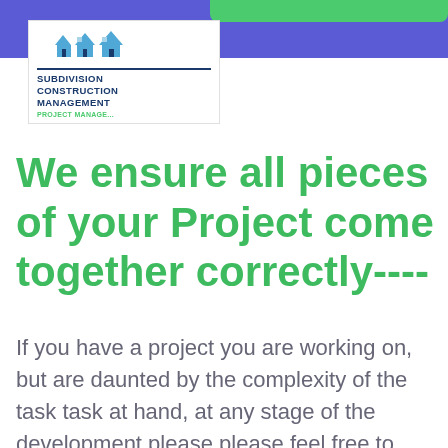[Figure (logo): Subdivision Construction Management Project Management logo with house icons]
We ensure all pieces of your Project come together correctly----
If you have a project you are working on, but are daunted by the complexity of the task task at hand, at any stage of the development please please feel free to contact us for an obligation free discussion about it. We can assist you with this phase as well as any of the